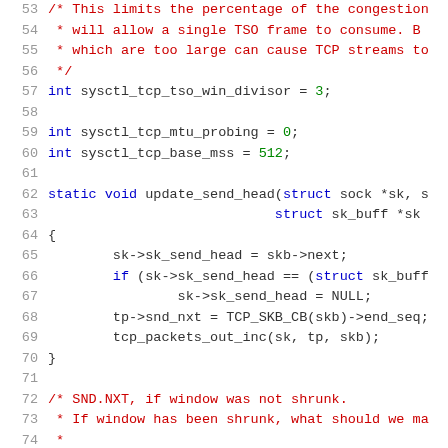[Figure (screenshot): Source code snippet showing C code lines 53-74 with syntax highlighting. Line numbers in gray on left, comment text in red, keywords in blue, numbers in green, and other code in dark gray/black on white background.]